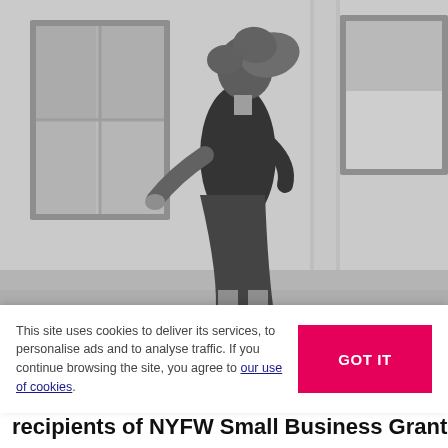[Figure (photo): Black and white photograph of a woman with curly hair wearing a black top and dark skirt, walking in front of a building with large windows.]
This site uses cookies to deliver its services, to personalise ads and to analyse traffic. If you continue browsing the site, you agree to our use of cookies.
recipients of NYFW Small Business Grant